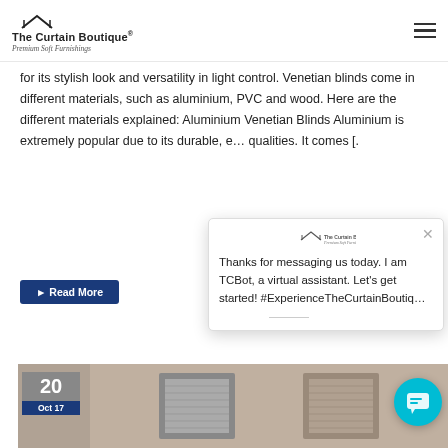The Curtain Boutique® Premium Soft Furnishings
for its stylish look and versatility in light control. Venetian blinds come in different materials, such as aluminium, PVC and wood. Here are the different materials explained: Aluminium Venetian Blinds Aluminium is extremely popular due to its durable, e… qualities. It comes [.
Read More
[Figure (screenshot): Chat popup from TCBot virtual assistant with The Curtain Boutique logo, showing message: Thanks for messaging us today. I am TCBot, a virtual assistant. Let's get started! #ExperienceTheCurtainBoutiq…]
[Figure (photo): Bottom strip showing date badge '20 Oct 17' with dark-framed blinds/roller shades on a wall]